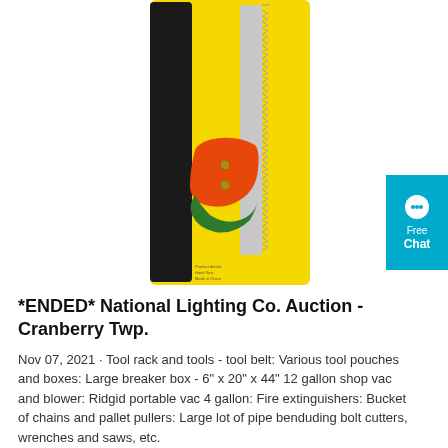[Figure (photo): A hand saw with orange and green handle, packaged on a yellow retail card with a black sheath/cover, photographed from above.]
*ENDED* National Lighting Co. Auction - Cranberry Twp.
Nov 07, 2021 · Tool rack and tools - tool belt: Various tool pouches and boxes: Large breaker box - 6" x 20" x 44" 12 gallon shop vac and blower: Ridgid portable vac 4 gallon: Fire extinguishers: Bucket of chains and pallet pullers: Large lot of pipe benduding bolt cutters, wrenches and saws, etc.